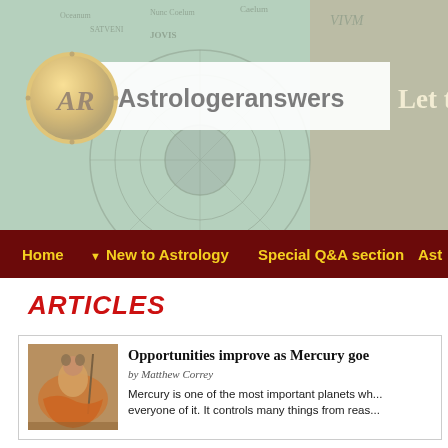[Figure (illustration): Astrologeranswers website header banner with astrological chart background imagery, golden logo circle with 'AR' monogram, white bar with site name 'Astrologeranswers', and tree/sky imagery on right]
Astrologeranswers   Let t
[Figure (illustration): Navigation bar with dark maroon background and gold text: Home, New to Astrology (with dropdown arrow), Special Q&A section, Ast...]
ARTICLES
[Figure (illustration): Thumbnail image of classical painting depicting Mercury/Hermes figure in orange robes]
Opportunities improve as Mercury goe
by Matthew Correy
Mercury is one of the most important planets wh... everyone of it. It controls many things from reas...
Love Horoscope for the Week